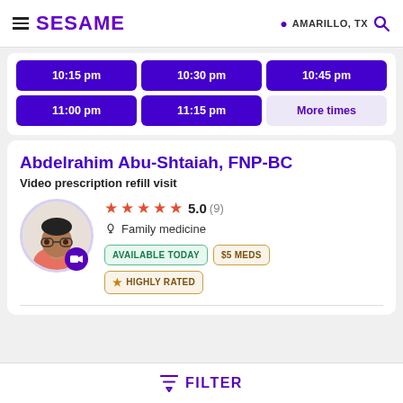SESAME | AMARILLO, TX
[Figure (screenshot): Time slot buttons: 10:15 pm, 10:30 pm, 10:45 pm, 11:00 pm, 11:15 pm, More times]
Abdelrahim Abu-Shtaiah, FNP-BC
Video prescription refill visit
[Figure (photo): Doctor photo of Abdelrahim Abu-Shtaiah with video badge]
5.0 (9) — Family medicine — AVAILABLE TODAY — $5 MEDS — HIGHLY RATED